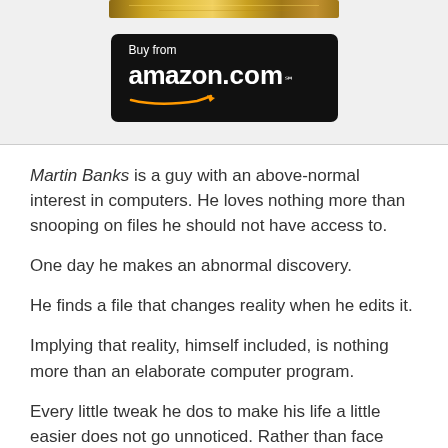[Figure (illustration): Partial view of a gold book cover at the top of the page]
[Figure (logo): Buy from amazon.com button with black background and Amazon smile arrow logo]
Martin Banks is a guy with an above-normal interest in computers. He loves nothing more than snooping on files he should not have access to.

One day he makes an abnormal discovery.

He finds a file that changes reality when he edits it.

Implying that reality, himself included, is nothing more than an elaborate computer program.

Every little tweak he dos to make his life a little easier does not go unnoticed. Rather than face prosecution and trying to explain what he can do, he